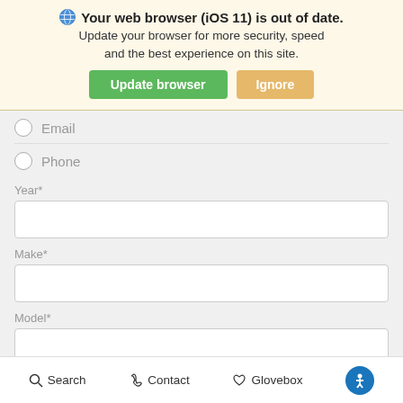Your web browser (iOS 11) is out of date. Update your browser for more security, speed and the best experience on this site.
[Figure (screenshot): Browser update banner with 'Update browser' green button and 'Ignore' orange/tan button]
Email (radio button)
Phone (radio button)
Year*
Make*
Model*
Search   Contact   Glovebox   [Accessibility icon]